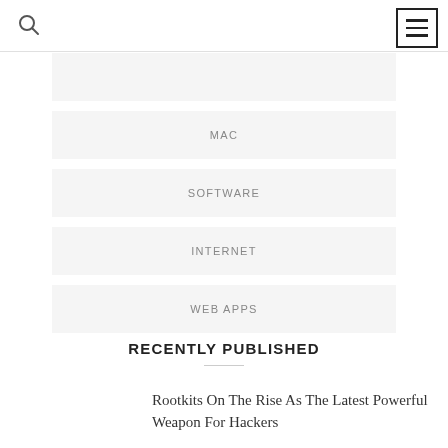[search icon] [menu icon]
MAC
SOFTWARE
INTERNET
WEB APPS
RECENTLY PUBLISHED
Rootkits On The Rise As The Latest Powerful Weapon For Hackers